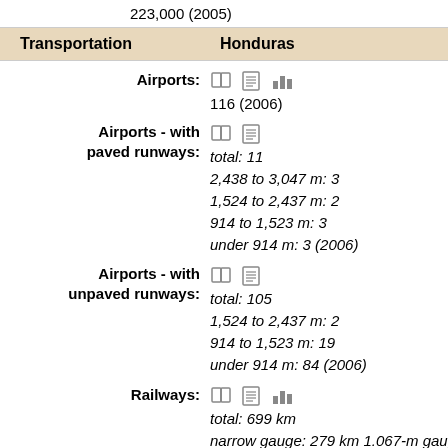223,000 (2005)
| Transportation | Honduras |
| --- | --- |
| Airports: | 116 (2006) |
| Airports - with paved runways: | total: 11
2,438 to 3,047 m: 3
1,524 to 2,437 m: 2
914 to 1,523 m: 3
under 914 m: 3 (2006) |
| Airports - with unpaved runways: | total: 105
1,524 to 2,437 m: 2
914 to 1,523 m: 19
under 914 m: 84 (2006) |
| Railways: | total: 699 km
narrow gauge: 279 km 1.067-m gauge; 420... |
| Roadways: | total: 13,603 km |